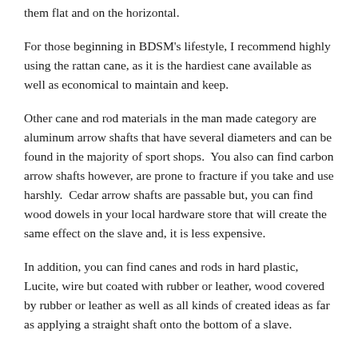them flat and on the horizontal.
For those beginning in BDSM's lifestyle, I recommend highly using the rattan cane, as it is the hardiest cane available as well as economical to maintain and keep.
Other cane and rod materials in the man made category are aluminum arrow shafts that have several diameters and can be found in the majority of sport shops.  You also can find carbon arrow shafts however, are prone to fracture if you take and use harshly.  Cedar arrow shafts are passable but, you can find wood dowels in your local hardware store that will create the same effect on the slave and, it is less expensive.
In addition, you can find canes and rods in hard plastic, Lucite, wire but coated with rubber or leather, wood covered by rubber or leather as well as all kinds of created ideas as far as applying a straight shaft onto the bottom of a slave.